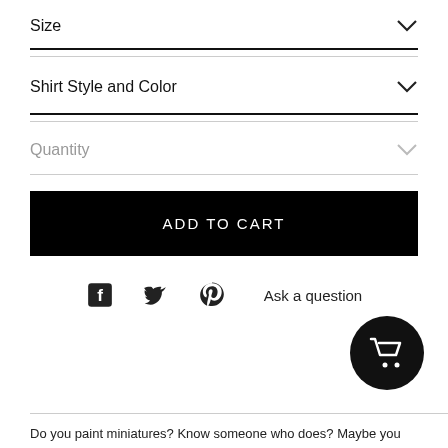Size
Shirt Style and Color
Quantity
ADD TO CART
[Figure (screenshot): Social sharing icons: Facebook, Twitter, Pinterest, and Ask a question link]
[Figure (other): Black circular cart button with shopping cart icon]
Do you paint miniatures? Know someone who does? Maybe you